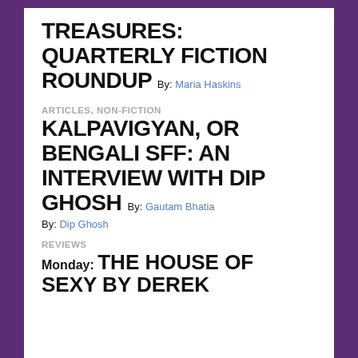TREASURES: QUARTERLY FICTION ROUNDUP By: Maria Haskins
ARTICLES, NON-FICTION
KALPAVIGYAN, OR BENGALI SFF: AN INTERVIEW WITH DIP GHOSH By: Gautam Bhatia
By: Dip Ghosh
REVIEWS
Monday: THE HOUSE OF SEXY BY DEREK